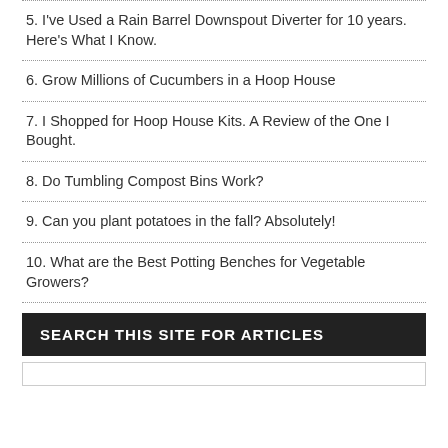5. I've Used a Rain Barrel Downspout Diverter for 10 years. Here's What I Know.
6. Grow Millions of Cucumbers in a Hoop House
7. I Shopped for Hoop House Kits. A Review of the One I Bought.
8. Do Tumbling Compost Bins Work?
9. Can you plant potatoes in the fall? Absolutely!
10. What are the Best Potting Benches for Vegetable Growers?
SEARCH THIS SITE FOR ARTICLES